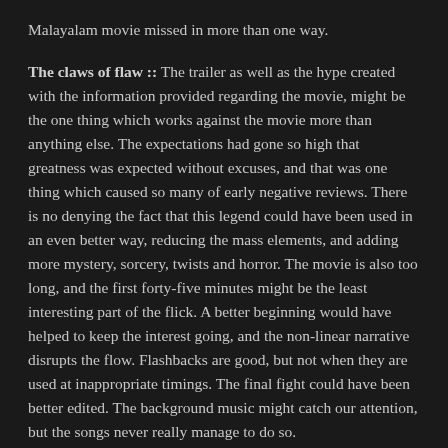Malayalam movie missed in more than one way.
The claws of flaw :: The trailer as well as the hype created with the information provided regarding the movie, might be the one thing which works against the movie more than anything else. The expectations had gone so high that greatness was expected without excuses, and that was one thing which caused so many of early negative reviews. There is no denying the fact that this legend could have been used in an even better way, reducing the mass elements, and adding more mystery, sorcery, twists and horror. The movie is also too long, and the first forty-five minutes might be the least interesting part of the flick. A better beginning would have helped to keep the interest going, and the non-linear narrative disrupts the flow. Flashbacks are good, but not when they are used at inappropriate timings. The final fight could have been better edited. The background music might catch our attention, but the songs never really manage to do so.